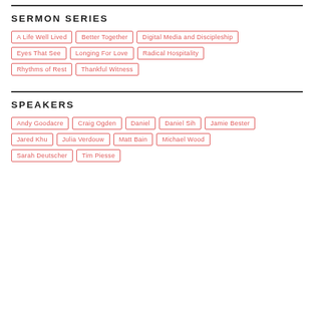SERMON SERIES
A Life Well Lived
Better Together
Digital Media and Discipleship
Eyes That See
Longing For Love
Radical Hospitality
Rhythms of Rest
Thankful Witness
SPEAKERS
Andy Goodacre
Craig Ogden
Daniel
Daniel Sih
Jamie Bester
Jared Khu
Julia Verdouw
Matt Bain
Michael Wood
Sarah Deutscher
Tim Piesse